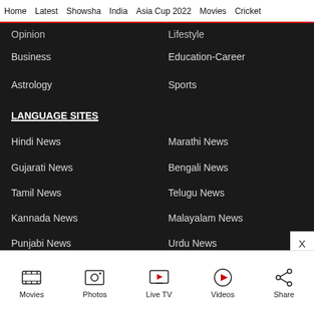Home   Latest   Showsha   India   Asia Cup 2022   Movies   Cricket
Opinion
Lifestyle
Business
Education-Career
Astrology
Sports
LANGUAGE SITES
Hindi News
Marathi News
Gujarati News
Bengali News
Tamil News
Telugu News
Kannada News
Malayalam News
Punjabi News
Urdu News
Movies   Photos   Live TV   Videos   Share